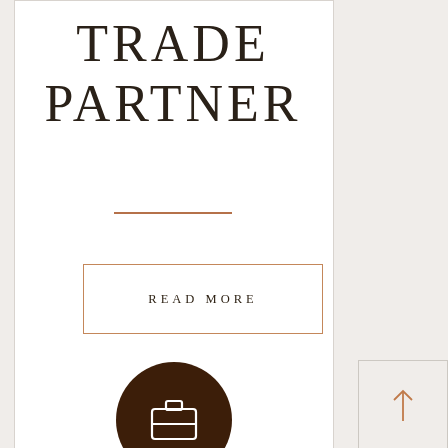TRADE PARTNER
READ MORE
[Figure (illustration): Dark brown circle with white briefcase/suitcase icon in the center]
[Figure (illustration): Arrow up button on right side panel with copper/brown upward arrow]